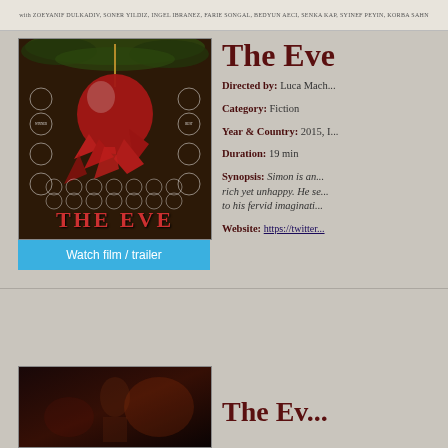with ZOEYANIF DULKADIV, SONER YILDIZ, INGEL IBRANEZ, FARIE SONGAL, BEDYUN AECI, SENKA KAP, SYINEF PEYIN, KORBA SAHN
[Figure (photo): Movie poster for 'The Eve' showing a broken red Christmas ornament against a brick wall background, with many laurel award wreaths. Blue bar at bottom reads 'Watch film / trailer']
The Eve
Directed by: Luca Mach...
Category: Fiction
Year & Country: 2015, I...
Duration: 19 min
Synopsis: Simon is an... rich yet unhappy. He se... to his fervid imaginati...
Website: https://twitte...
[Figure (photo): Partial movie poster for a second film at the bottom of the page, showing a dark dramatic scene]
The Ev...